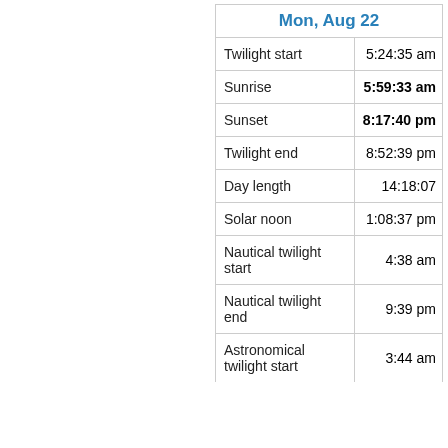| Mon, Aug 22 |  |
| --- | --- |
| Twilight start | 5:24:35 am |
| Sunrise | 5:59:33 am |
| Sunset | 8:17:40 pm |
| Twilight end | 8:52:39 pm |
| Day length | 14:18:07 |
| Solar noon | 1:08:37 pm |
| Nautical twilight start | 4:38 am |
| Nautical twilight end | 9:39 pm |
| Astronomical twilight start | 3:44 am |